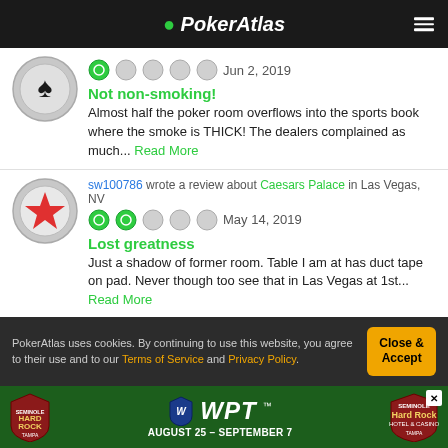PokerAtlas
1 star rating — Jun 2, 2019
Not non-smoking!
Almost half the poker room overflows into the sports book where the smoke is THICK! The dealers complained as much... Read More
sw100786 wrote a review about Caesars Palace in Las Vegas, NV
2 star rating — May 14, 2019
Lost greatness
Just a shadow of former room. Table I am at has duct tape on pad. Never though too see that in Las Vegas at 1st... Read More
andrew0510 wrote a review about Caesars Palace in Las Vegas, NV
PokerAtlas uses cookies. By continuing to use this website, you agree to their use and to our Terms of Service and Privacy Policy.
[Figure (infographic): Hard Rock Tampa WPT advertisement banner — August 25 - September 7]